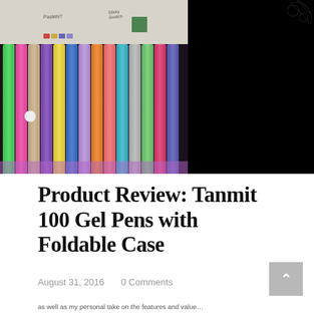[Figure (photo): Photo of a set of colorful Tanmit gel pens in a plastic foldable case, with handwritten notes 'Pastels?' and 'Stickers' visible. The right portion of the image is black. Multiple brightly colored pen barrels visible including green, pink, purple, yellow, blue, orange, coral, and teal.]
Product Review: Tanmit 100 Gel Pens with Foldable Case
August 31, 2016    0 Comments